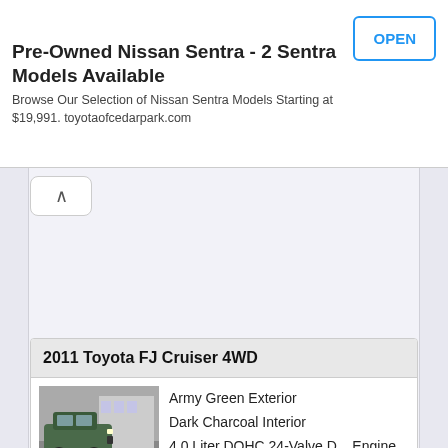[Figure (screenshot): Ad banner for Pre-Owned Nissan Sentra with OPEN button]
Pre-Owned Nissan Sentra - 2 Sentra Models Available
Browse Our Selection of Nissan Sentra Models Starting at $19,991. toyotaofcedarpark.com
[Figure (screenshot): Collapse/chevron up button]
2011 Toyota FJ Cruiser 4WD
[Figure (photo): Photo of a dark green 2011 Toyota FJ Cruiser 4WD in a parking lot with snow on the ground]
Army Green Exterior
Dark Charcoal Interior
4.0 Liter DOHC 24-Valve D... Engine
5 Speed ECT Automatic